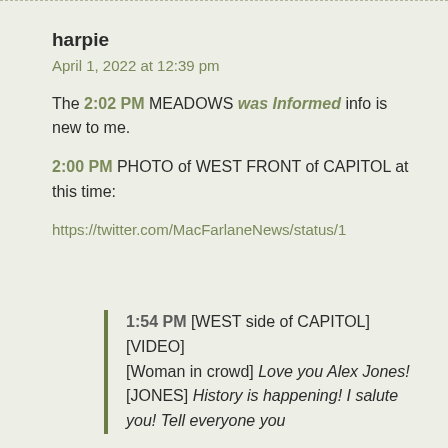harpie
April 1, 2022 at 12:39 pm
The 2:02 PM MEADOWS was Informed info is new to me.
2:00 PM PHOTO of WEST FRONT of CAPITOL at this time:
https://twitter.com/MacFarlaneNews/status/1
1:54 PM [WEST side of CAPITOL] [VIDEO] [Woman in crowd] Love you Alex Jones! [JONES] History is happening! I salute you! Tell everyone you